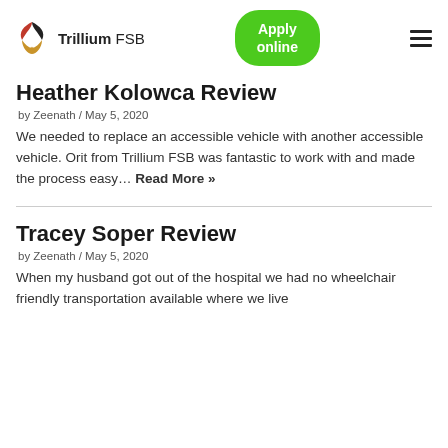Trillium FSB | Apply online
Heather Kolowca Review
by Zeenath / May 5, 2020
We needed to replace an accessible vehicle with another accessible vehicle. Orit from Trillium FSB was fantastic to work with and made the process easy… Read More »
Tracey Soper Review
by Zeenath / May 5, 2020
When my husband got out of the hospital we had no wheelchair friendly transportation available where we live